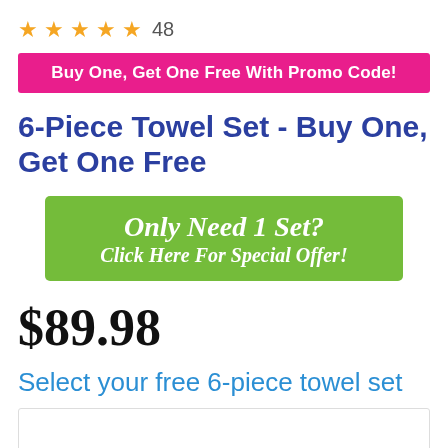★★★★★ 48
Buy One, Get One Free With Promo Code!
6-Piece Towel Set - Buy One, Get One Free
[Figure (other): Green button banner reading 'Only Need 1 Set? Click Here For Special Offer!']
$89.98
Select your free 6-piece towel set